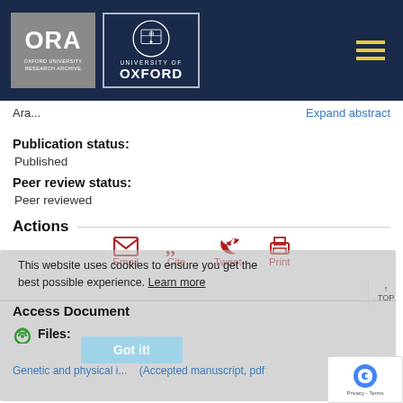[Figure (logo): ORA Oxford University Research Archive logo and University of Oxford crest logo on dark navy header with hamburger menu icon]
Ara...
Expand abstract
Publication status:
Published
Peer review status:
Peer reviewed
Actions
[Figure (infographic): Action icons: Email, Cite, Tweet, Print with icons above labels in dark red]
This website uses cookies to ensure you get the best possible experience. Learn more
Access Document
Files:
Got it!
Genetic and physical i... (Accepted manuscript, pdf